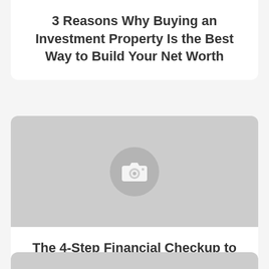3 Reasons Why Buying an Investment Property Is the Best Way to Build Your Net Worth
[Figure (photo): Placeholder image with camera icon on grey background]
The 4-Step Financial Checkup to Get Ready for a Mortgage in 2018